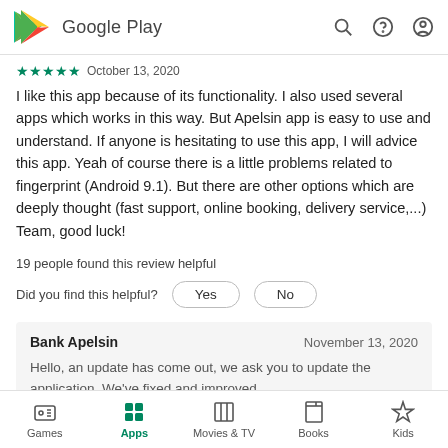Google Play
October 13, 2020
I like this app because of its functionality. I also used several apps which works in this way. But Apelsin app is easy to use and understand. If anyone is hesitating to use this app, I will advice this app. Yeah of course there is a little problems related to fingerprint (Android 9.1). But there are other options which are deeply thought (fast support, online booking, delivery service,...) Team, good luck!
19 people found this review helpful
Did you find this helpful?  Yes  No
Bank Apelsin  November 13, 2020
Hello, an update has come out, we ask you to update the application. We've fixed and improved
Games  Apps  Movies & TV  Books  Kids